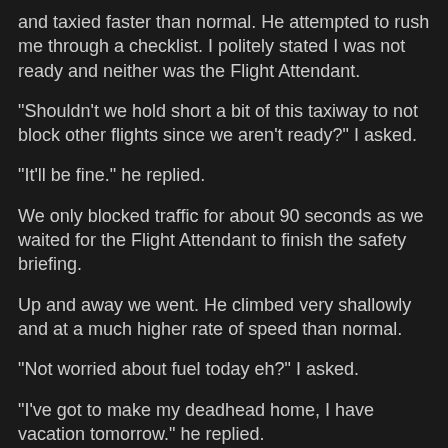and taxied faster than normal. He attempted to rush me through a checklist. I politely stated I was not ready and neither was the Flight Attendant.
"Shouldn't we hold short a bit of this taxiway to not block other flights since we aren't ready?" I asked.
"It'll be fine." he replied.
We only blocked traffic for about 90 seconds as we waited for the Flight Attendant to finish the safety briefing.
Up and away we went. He climbed very shallowly and at a much higher rate of speed than normal.
"Not worried about fuel today eh?" I asked.
"I've got to make my deadhead home, I have vacation tomorrow." he replied.
After copious amounts of Jet A being burned we arrived 20 minutes UNDER block time and burned 600 pounds more